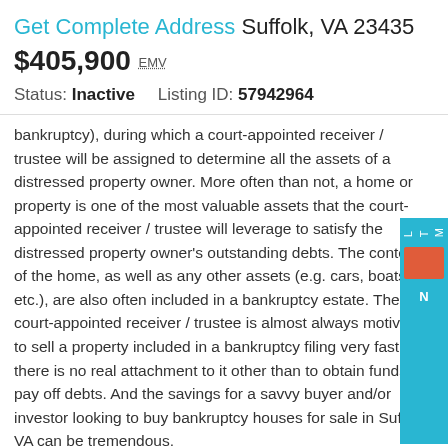Get Complete Address Suffolk, VA 23435
$405,900 EMV
Status: Inactive    Listing ID: 57942964
bankruptcy), during which a court-appointed receiver / trustee will be assigned to determine all the assets of a distressed property owner. More often than not, a home or property is one of the most valuable assets that the court-appointed receiver / trustee will leverage to satisfy the distressed property owner's outstanding debts. The contents of the home, as well as any other assets (e.g. cars, boats, etc.), are also often included in a bankruptcy estate. The court-appointed receiver / trustee is almost always motivated to sell a property included in a bankruptcy filing very fast -- there is no real attachment to it other than to obtain funds to pay off debts. And the savings for a savvy buyer and/or investor looking to buy bankruptcy houses for sale in Suffolk, VA can be tremendous.
First Steps to Buying a Bankruptcy